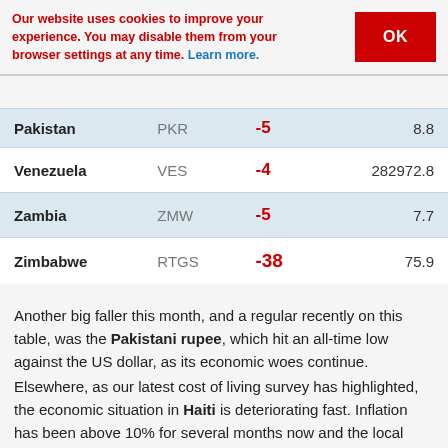Our website uses cookies to improve your experience. You may disable them from your browser settings at any time. Learn more.
| Country | Currency | Change | Rate |
| --- | --- | --- | --- |
| Pakistan | PKR | -5 | 8.8 |
| Venezuela | VES | -4 | 282972.8 |
| Zambia | ZMW | -5 | 7.7 |
| Zimbabwe | RTGS | -38 | 75.9 |
Another big faller this month, and a regular recently on this table, was the Pakistani rupee, which hit an all-time low against the US dollar, as its economic woes continue.
Elsewhere, as our latest cost of living survey has highlighted, the economic situation in Haiti is deteriorating fast. Inflation has been above 10% for several months now and the local currency is losing value. The main issue has been that crisis-hit Venezuela